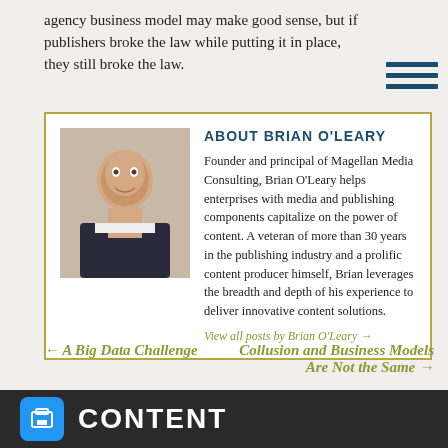agency business model may make good sense, but if publishers broke the law while putting it in place, they still broke the law.
ABOUT BRIAN O'LEARY
Founder and principal of Magellan Media Consulting, Brian O'Leary helps enterprises with media and publishing components capitalize on the power of content. A veteran of more than 30 years in the publishing industry and a prolific content producer himself, Brian leverages the breadth and depth of his experience to deliver innovative content solutions.
View all posts by Brian O'Leary →
← A Big Data Challenge
Collusion and Business Models Are Not the Same →
CONTENT